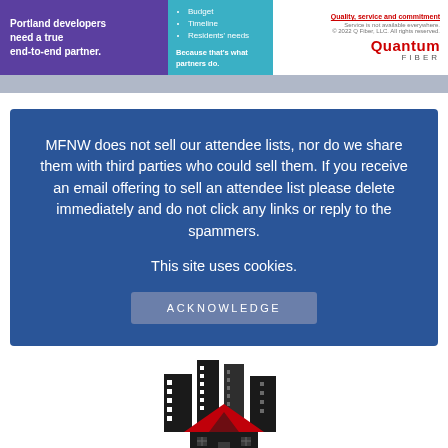[Figure (infographic): Quantum Fiber advertisement banner with purple left section ('Portland developers need a true end-to-end partner.'), teal middle section with bullet points (Budget, Timeline, Residents' needs) and tagline 'Because that's what partners do.', and white right section with Quantum Fiber logo and disclaimer text.]
MFNW does not sell our attendee lists, nor do we share them with third parties who could sell them. If you receive an email offering to sell an attendee list please delete immediately and do not click any links or reply to the spammers.
This site uses cookies.
ACKNOWLEDGE
[Figure (logo): FRS logo with stylized city buildings and house with red roof, letters FRS in red at bottom.]